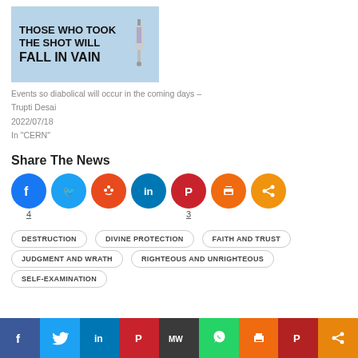[Figure (illustration): Article thumbnail image with text: THOSE WHO TOOK THE SHOT WILL FALL IN VAIN, with an image of a syringe on blue background]
Events so diabolical will occur in the coming days – Trupti Desai
2022/07/18
In "CERN"
Share The News
[Figure (infographic): Social share icons: Facebook (4), Twitter, Reddit, LinkedIn, Pinterest (3), Print, Share]
DESTRUCTION
DIVINE PROTECTION
FAITH AND TRUST
JUDGMENT AND WRATH
RIGHTEOUS AND UNRIGHTEOUS
SELF-EXAMINATION
[Figure (infographic): Bottom social sharing bar with Facebook, Twitter, LinkedIn, Pinterest, MeWe, WhatsApp, Print, Parler, Share buttons]